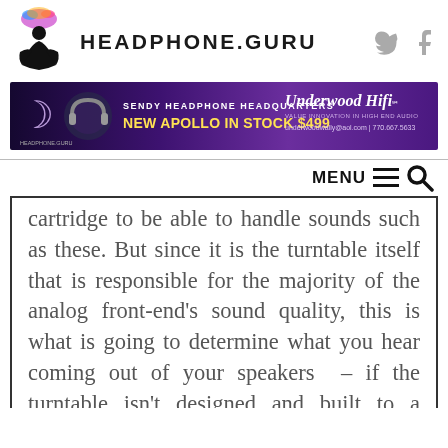HEADPHONE.GURU
[Figure (illustration): Headphone.guru logo - silhouette of person meditating with colorful headphone splash above]
[Figure (infographic): Purple banner advertisement: SENDY HEADPHONE HEADQUARTERS - NEW APOLLO IN STOCK $499 - Underwood Hifi - underwoodwally@aol.com | 770.667.5633]
MENU
cartridge to be able to handle sounds such as these. But since it is the turntable itself that is responsible for the majority of the analog front-end’s sound quality, this is what is going to determine what you hear coming out of your speakers – if the turntable isn’t designed and built to a certain level of refinement, then it is not worthy of